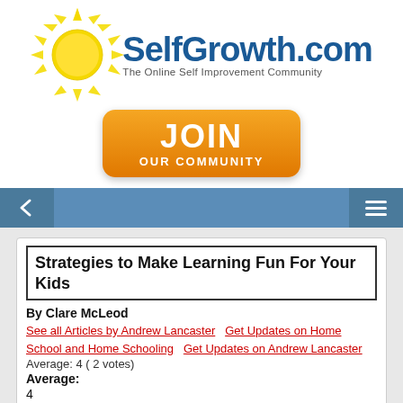[Figure (logo): SelfGrowth.com logo with sun graphic and tagline 'The Online Self Improvement Community']
[Figure (illustration): Orange JOIN OUR COMMUNITY button]
[Figure (screenshot): Navigation bar with back arrow and hamburger menu on blue background]
Strategies to Make Learning Fun For Your Kids
By Clare McLeod
See all Articles by Andrew Lancaster   Get Updates on Home School and Home Schooling   Get Updates on Andrew Lancaster
Average: 4 ( 2 votes)
Average:
4
Tweet
Teachers often say that there is nothing better than when a child has that lightbulb moment. A foreign concept suddenly clicks in their